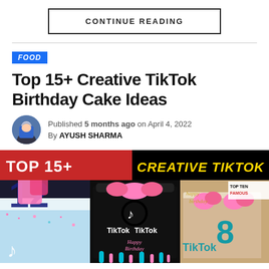CONTINUE READING
FOOD
Top 15+ Creative TikTok Birthday Cake Ideas
Published 5 months ago on April 4, 2022
By AYUSH SHARMA
[Figure (photo): Collage of TikTok-themed birthday cakes with text TOP 15+ CREATIVE TIKTOK on a dark banner, showing three decorated cakes with TikTok logos and pink/teal colors]